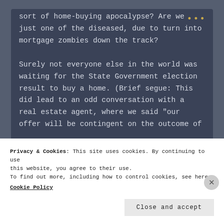sort of home-buying apocalypse? Are we just one of the diseased, due to turn into mortgage zombies down the track?

Surely not everyone else in the world was waiting for the State Government election result to buy a home. (Brief segue: This did lead to an odd conversation with a real estate agent, where we said “our offer will be contingent on the outcome of
Privacy & Cookies: This site uses cookies. By continuing to use this website, you agree to their use.
To find out more, including how to control cookies, see here:
Cookie Policy
Close and accept